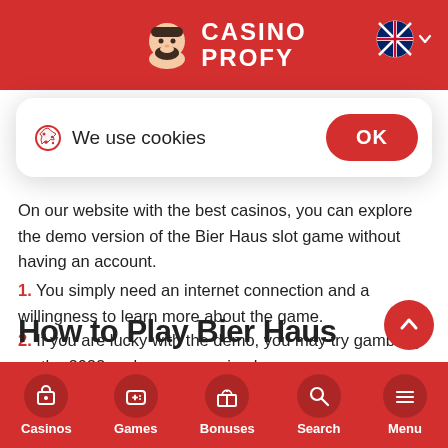CASINO PROFY
We use cookies
On our website with the best casinos, you can explore the demo version of the Bier Haus slot game without having an account.
1. You simply need an internet connection and a willingness to learn more about the game.
2. If you are lucky with the demo, you may try gambling on the 2022 real money version here.
How to Play Bier Haus
Casinos  Games  Bonuses  Search  Menu